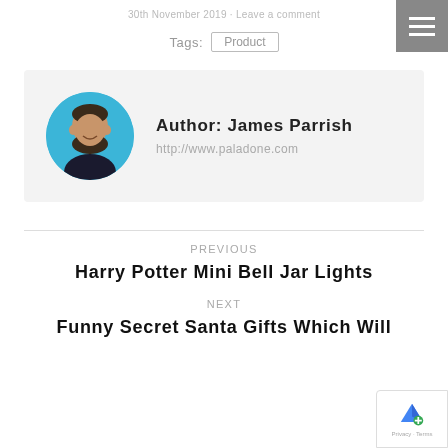30th November 2019 · Leave a comment
Tags: Product
Author: James Parrish
http://www.paladone.com
PREVIOUS
Harry Potter Mini Bell Jar Lights
NEXT
Funny Secret Santa Gifts Which Will